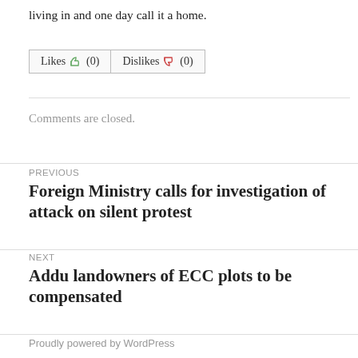living in and one day call it a home.
[Figure (other): Likes and Dislikes buttons with thumbs up/down icons, both showing (0)]
Comments are closed.
PREVIOUS
Foreign Ministry calls for investigation of attack on silent protest
NEXT
Addu landowners of ECC plots to be compensated
Proudly powered by WordPress